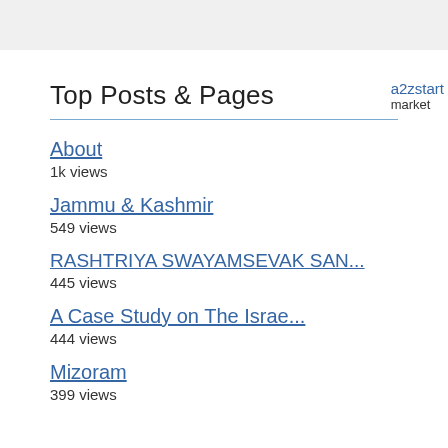Top Posts & Pages
a2zstart
market
About
1k views
Jammu & Kashmir
549 views
RASHTRIYA SWAYAMSEVAK SAN...
445 views
A Case Study on The Israe...
444 views
Mizoram
399 views